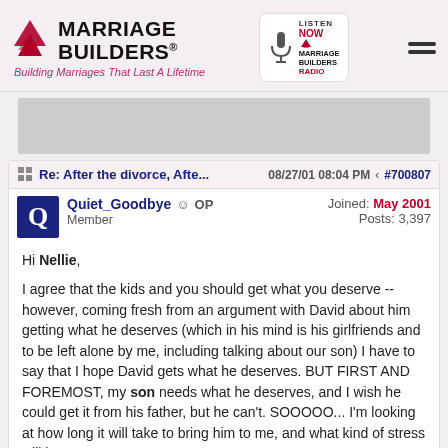Marriage Builders® — Building Marriages That Last A Lifetime
Re: After the divorce, Afte...  08/27/01 08:04 PM  #700807
Quiet_Goodbye  OP  Member  Joined: May 2001  Posts: 3,397
Hi Nellie,

I agree that the kids and you should get what you deserve -- however, coming fresh from an argument with David about him getting what he deserves (which in his mind is his girlfriends and to be left alone by me, including talking about our son) I have to say that I hope David gets what he deserves. BUT FIRST AND FOREMOST, my son needs what he deserves, and I wish he could get it from his father, but he can't. SOOOOO... I'm looking at how long it will take to bring him to me, and what kind of stress will it